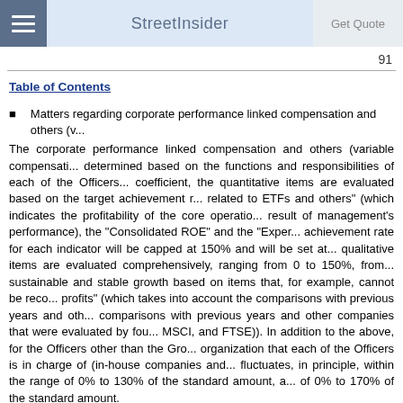StreetInsider
91
Table of Contents
Matters regarding corporate performance linked compensation and others (v...
The corporate performance linked compensation and others (variable compensati... determined based on the functions and responsibilities of each of the Officers... coefficient, the quantitative items are evaluated based on the target achievement r... related to ETFs and others" (which indicates the profitability of the core operatio... result of management's performance), the "Consolidated ROE" and the "Exper... achievement rate for each indicator will be capped at 150% and will be set at... qualitative items are evaluated comprehensively, ranging from 0 to 150%, from... sustainable and stable growth based on items that, for example, cannot be reco... profits" (which takes into account the comparisons with previous years and oth... comparisons with previous years and other companies that were evaluated by fou... MSCI, and FTSE)). In addition to the above, for the Officers other than the Gro... organization that each of the Officers is in charge of (in-house companies and... fluctuates, in principle, within the range of 0% to 130% of the standard amount, a... of 0% to 170% of the standard amount.
Matters regarding non-monetary compensation (Stock Compensation)